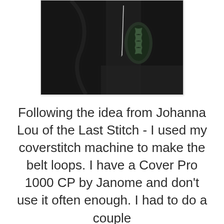[Figure (photo): Close-up photo of dark/black fabric with a needle and what appears to be a buttonhole or stitching detail, used to illustrate coverstitch machine work on belt loops.]
Following the idea from Johanna Lou of the Last Stitch - I used my coverstitch machine to make the belt loops. I have a Cover Pro 1000 CP by Janome and don't use it often enough. I had to do a couple